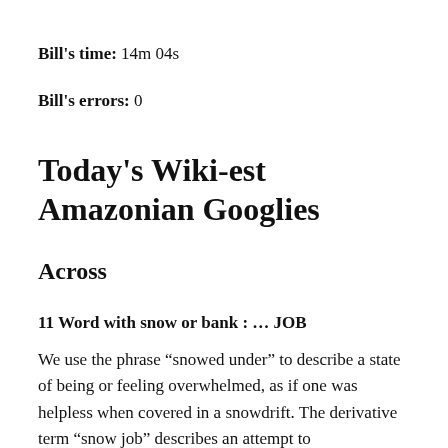Bill's time: 14m 04s
Bill's errors: 0
Today's Wiki-est Amazonian Googlies
Across
11 Word with snow or bank : … JOB
We use the phrase “snowed under” to describe a state of being or feeling overwhelmed, as if one was helpless when covered in a snowdrift. The derivative term “snow job” describes an attempt to